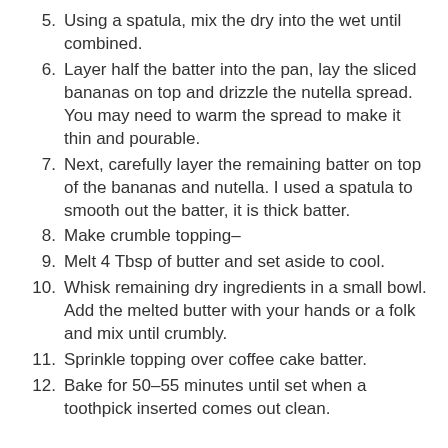5. Using a spatula, mix the dry into the wet until combined.
6. Layer half the batter into the pan, lay the sliced bananas on top and drizzle the nutella spread. You may need to warm the spread to make it thin and pourable.
7. Next, carefully layer the remaining batter on top of the bananas and nutella. I used a spatula to smooth out the batter, it is thick batter.
8. Make crumble topping–
9. Melt 4 Tbsp of butter and set aside to cool.
10. Whisk remaining dry ingredients in a small bowl. Add the melted butter with your hands or a folk and mix until crumbly.
11. Sprinkle topping over coffee cake batter.
12. Bake for 50–55 minutes until set when a toothpick inserted comes out clean.